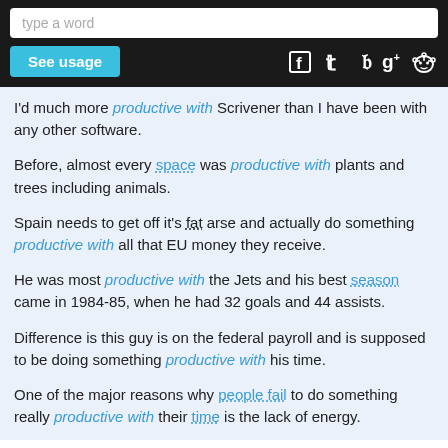type a word | See usage | [social icons: Facebook, Twitter, Google+, Reddit]
I'd much more productive with Scrivener than I have been with any other software.
Before, almost every space was productive with plants and trees including animals.
Spain needs to get off it's fat arse and actually do something productive with all that EU money they receive.
He was most productive with the Jets and his best season came in 1984-85, when he had 32 goals and 44 assists.
Difference is this guy is on the federal payroll and is supposed to be doing something productive with his time.
One of the major reasons why people fail to do something really productive with their time is the lack of energy.
x